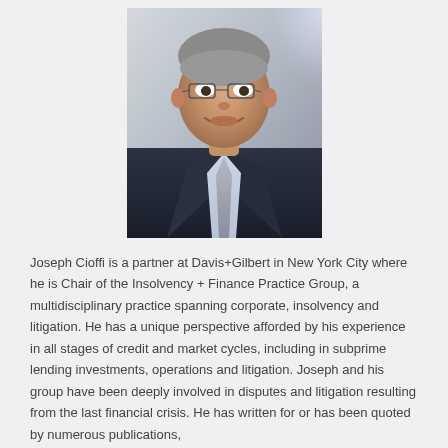[Figure (photo): Professional headshot of Joseph Cioffi, a middle-aged man wearing glasses, a dark suit, light blue shirt, and grey tie, photographed against a light background.]
Joseph Cioffi is a partner at Davis+Gilbert in New York City where he is Chair of the Insolvency + Finance Practice Group, a multidisciplinary practice spanning corporate, insolvency and litigation. He has a unique perspective afforded by his experience in all stages of credit and market cycles, including in subprime lending investments, operations and litigation. Joseph and his group have been deeply involved in disputes and litigation resulting from the last financial crisis. He has written for or has been quoted by numerous publications,